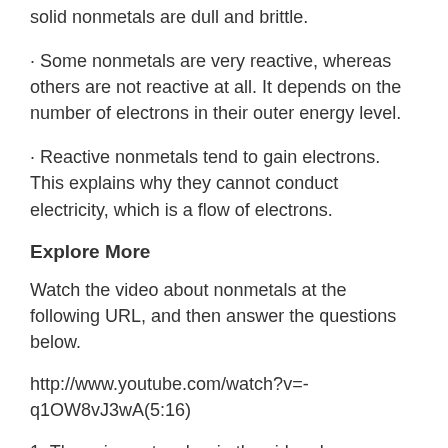solid nonmetals are dull and brittle.
· Some nonmetals are very reactive, whereas others are not reactive at all. It depends on the number of electrons in their outer energy level.
· Reactive nonmetals tend to gain electrons. This explains why they cannot conduct electricity, which is a flow of electrons.
Explore More
Watch the video about nonmetals at the following URL, and then answer the questions below.
http://www.youtube.com/watch?v=-q1OW8vJ3wA(5:16)
1. The science teacher in the video does an experiment in which he tests the reactivity of four nonmetal gases. How does he test them?